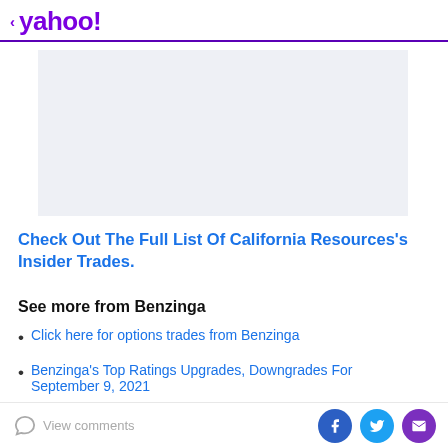< yahoo!
[Figure (other): Advertisement placeholder block, light blue-grey background]
Advertisement
Check Out The Full List Of California Resources's Insider Trades.
See more from Benzinga
Click here for options trades from Benzinga
Benzinga's Top Ratings Upgrades, Downgrades For September 9, 2021
View comments